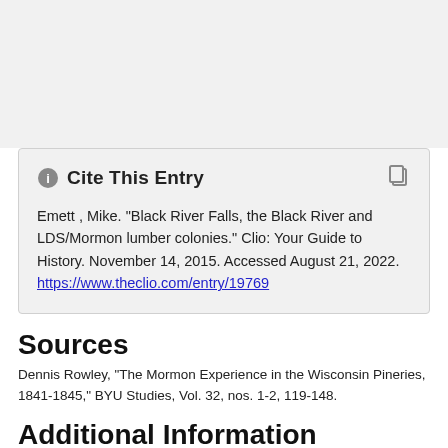Cite This Entry
Emett , Mike. "Black River Falls, the Black River and LDS/Mormon lumber colonies." Clio: Your Guide to History. November 14, 2015. Accessed August 21, 2022. https://www.theclio.com/entry/19769
Sources
Dennis Rowley, "The Mormon Experience in the Wisconsin Pineries, 1841-1845," BYU Studies, Vol. 32, nos. 1-2, 119-148.
Additional Information